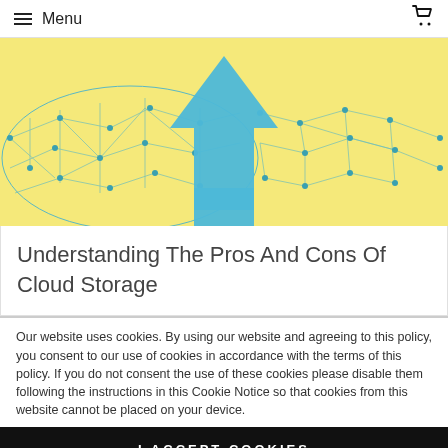Menu
[Figure (illustration): Cloud storage concept illustration: two yellow dome/globe shapes made of interconnected blue network nodes and lines, with a large blue upward-pointing arrow in the center foreground, suggesting uploading to the cloud.]
Understanding The Pros And Cons Of Cloud Storage
Our website uses cookies. By using our website and agreeing to this policy, you consent to our use of cookies in accordance with the terms of this policy. If you do not consent the use of these cookies please disable them following the instructions in this Cookie Notice so that cookies from this website cannot be placed on your device.
I ACCEPT COOKIES